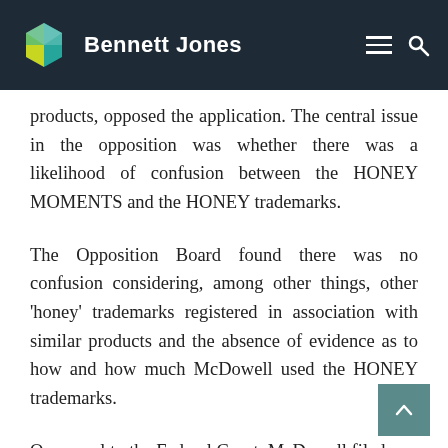Bennett Jones
products, opposed the application. The central issue in the opposition was whether there was a likelihood of confusion between the HONEY MOMENTS and the HONEY trademarks.
The Opposition Board found there was no confusion considering, among other things, other 'honey' trademarks registered in association with similar products and the absence of evidence as to how and how much McDowell used the HONEY trademarks.
On appeal to the Federal Court, McDowell filed a